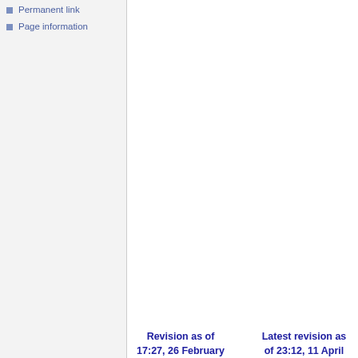Permanent link
Page information
Revision as of 17:27, 26 February
Latest revision as of 23:12, 11 April